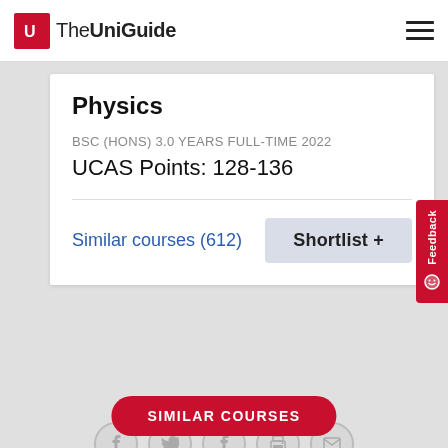TheUniGuide
Physics
BSC (HONS) 3.0 YEARS FULL-TIME 2022
UCAS Points: 128-136
Similar courses (612)
Shortlist +
Feedback
SHARE THIS PAGE
SIMILAR COURSES